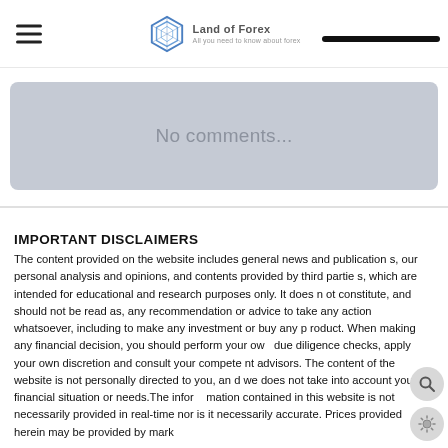Land of Forex — All you need to know about forex
[Figure (screenshot): No comments placeholder box with grey background]
IMPORTANT DISCLAIMERS
The content provided on the website includes general news and publications, our personal analysis and opinions, and contents provided by third parties, which are intended for educational and research purposes only. It does not constitute, and should not be read as, any recommendation or advice to take any action whatsoever, including to make any investment or buy any product. When making any financial decision, you should perform your own due diligence checks, apply your own discretion and consult your competent advisors. The content of the website is not personally directed to you, and we does not take into account your financial situation or needs. The information contained in this website is not necessarily provided in real-time nor is it necessarily accurate. Prices provided herein may be provided by mark